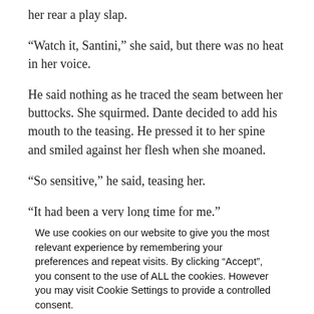her rear a play slap.
“Watch it, Santini,” she said, but there was no heat in her voice.
He said nothing as he traced the seam between her buttocks. She squirmed. Dante decided to add his mouth to the teasing. He pressed it to her spine and smiled against her flesh when she moaned.
“So sensitive,” he said, teasing her.
“It had been a very long time for me.”
That made him pause. “How long?”
She shrugged and he didn’t like that. The evasion bothered him when it normally wouldn’t.
Cookie consent overlay text: We use cookies on our website to give you the most relevant experience by remembering your preferences and repeat visits. By clicking “Accept”, you consent to the use of ALL the cookies. However you may visit Cookie Settings to provide a controlled consent.
her face. He grabbed her by her waist and flipped her over.
barking. But she was giggling when he covered her body with his own. Charlie ran the room with a loud, s---